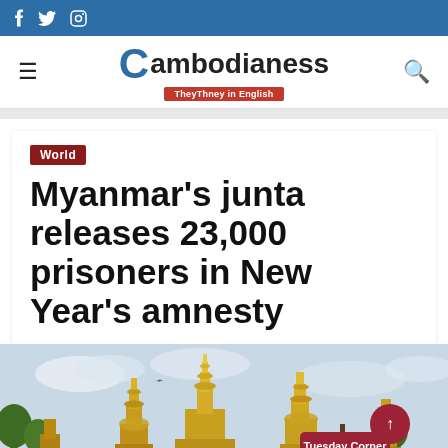Cambodianess - TheyThney in English (social bar with Facebook, Twitter, Instagram icons)
[Figure (logo): Cambodianess logo with blue C letter, 'ambodianess' text, and red tagline 'TheyThney in English']
World
Myanmar's junta releases 23,000 prisoners in New Year's amnesty
[Figure (photo): Photo of golden Buddhist pagoda/temple spires in Myanmar, with a bird in flight, trees, and a 'Tuesday Corner' sign in the foreground]